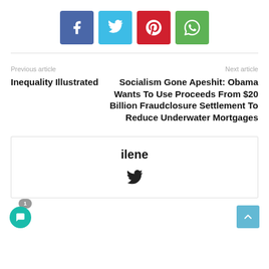[Figure (other): Social share buttons: Facebook (blue), Twitter (light blue), Pinterest (red), WhatsApp (green)]
Previous article
Inequality Illustrated
Next article
Socialism Gone Apeshit: Obama Wants To Use Proceeds From $20 Billion Fraudclosure Settlement To Reduce Underwater Mortgages
ilene
[Figure (other): Twitter bird icon for author ilene]